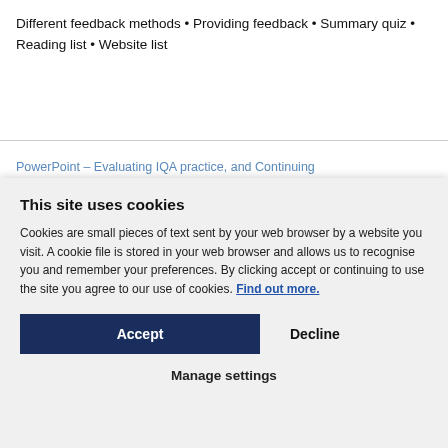Different feedback methods • Providing feedback • Summary quiz • Reading list • Website list
PowerPoint – Evaluating IQA practice, and Continuing
nt (£10.00)
(Ref I0006)
This site uses cookies
Cookies are small pieces of text sent by your web browser by a website you visit. A cookie file is stored in your web browser and allows us to recognise you and remember your preferences. By clicking accept or continuing to use the site you agree to our use of cookies. Find out more.
Accept
Decline
Manage settings